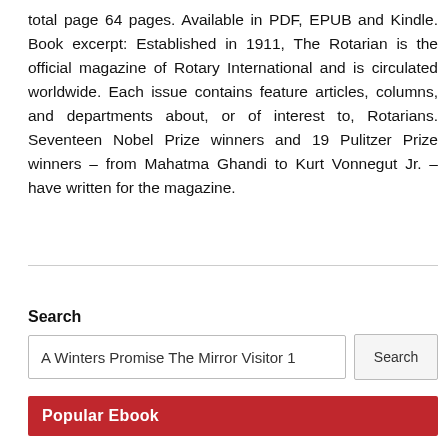total page 64 pages. Available in PDF, EPUB and Kindle. Book excerpt: Established in 1911, The Rotarian is the official magazine of Rotary International and is circulated worldwide. Each issue contains feature articles, columns, and departments about, or of interest to, Rotarians. Seventeen Nobel Prize winners and 19 Pulitzer Prize winners – from Mahatma Ghandi to Kurt Vonnegut Jr. – have written for the magazine.
Search
A Winters Promise The Mirror Visitor 1
Popular Ebook
How to Be a Woman